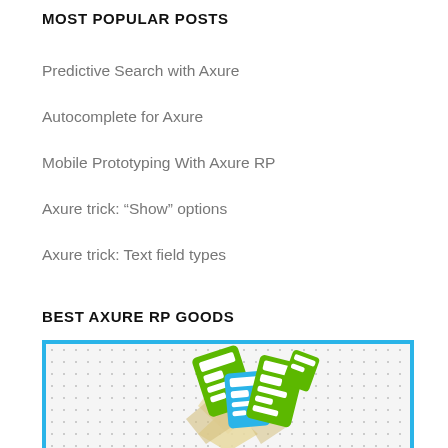MOST POPULAR POSTS
Predictive Search with Axure
Autocomplete for Axure
Mobile Prototyping With Axure RP
Axure trick: “Show” options
Axure trick: Text field types
BEST AXURE RP GOODS
[Figure (illustration): Illustration of Axure RP goods: green and blue stylized widget icons with beige envelope/star shapes, on a dotted background inside a blue border frame.]